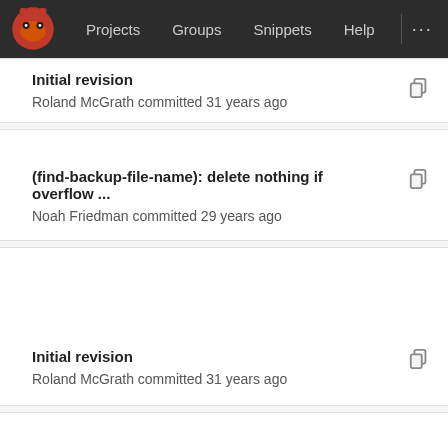Projects  Groups  Snippets  Help  ...
Initial revision
Roland McGrath committed 31 years ago
(find-backup-file-name): delete nothing if overflow ...
Noah Friedman committed 29 years ago
Initial revision
Roland McGrath committed 31 years ago
(file-relative-name): New function.
Roland McGrath committed 29 years ago